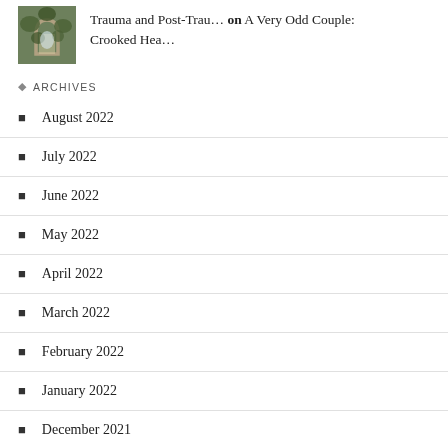[Figure (photo): Small thumbnail image showing an old stone arch or ruins covered with green ivy/vines, with light visible through the archway]
Trauma and Post-Trau… on A Very Odd Couple: Crooked Hea…
ARCHIVES
August 2022
July 2022
June 2022
May 2022
April 2022
March 2022
February 2022
January 2022
December 2021
November 2021